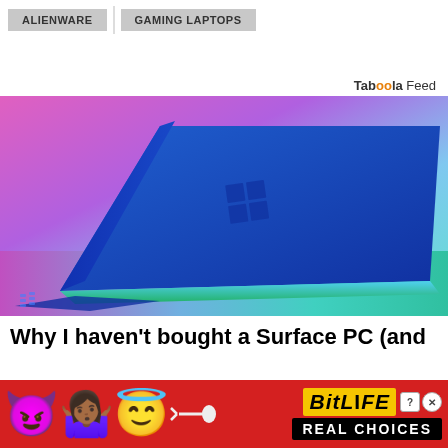ALIENWARE  |  GAMING LAPTOPS
Taboola Feed
[Figure (photo): Blue Microsoft Surface laptop viewed from behind at an angle, showing the Windows logo, against a colorful pink, purple, and teal background with gradient lighting.]
Why I haven't bought a Surface PC (and
[Figure (infographic): BitLife ad banner with red background, emojis (devil, shrugging person, angel), sperm emoji, BitLife logo in yellow, question mark and X icons, and 'REAL CHOICES' text in black on white.]